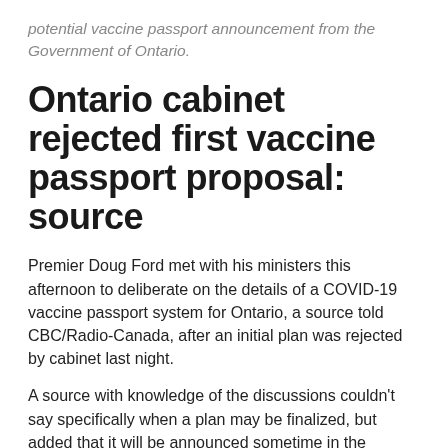potential vaccine passport announcement from the Government of Ontario.
Ontario cabinet rejected first vaccine passport proposal: source
Premier Doug Ford met with his ministers this afternoon to deliberate on the details of a COVID-19 vaccine passport system for Ontario, a source told CBC/Radio-Canada, after an initial plan was rejected by cabinet last night.
A source with knowledge of the discussions couldn't say specifically when a plan may be finalized, but added that it will be announced sometime in the coming days.
Click here to read more.